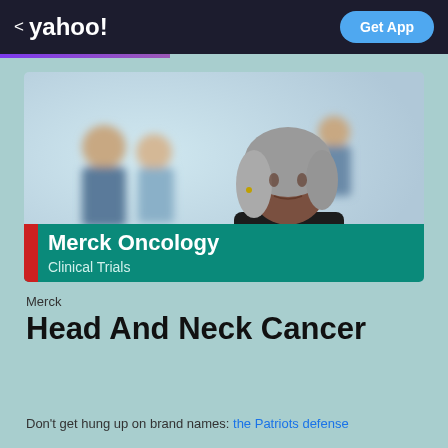< yahoo!  Get App
[Figure (photo): Merck Oncology Clinical Trials advertisement featuring a woman with gray hair in a professional setting with blurred background figures]
Merck
Head And Neck Cancer
Don't get hung up on brand names: the Patriots defense